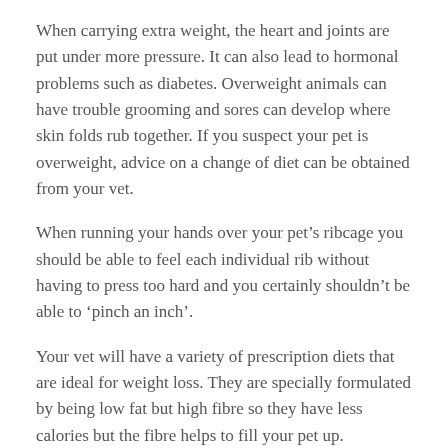When carrying extra weight, the heart and joints are put under more pressure. It can also lead to hormonal problems such as diabetes. Overweight animals can have trouble grooming and sores can develop where skin folds rub together. If you suspect your pet is overweight, advice on a change of diet can be obtained from your vet.
When running your hands over your pet’s ribcage you should be able to feel each individual rib without having to press too hard and you certainly shouldn’t be able to ‘pinch an inch’.
Your vet will have a variety of prescription diets that are ideal for weight loss. They are specially formulated by being low fat but high fibre so they have less calories but the fibre helps to fill your pet up.
At the surgery, your pet will be weighed and an estimate made of what your pet should weigh! An accurate measure can then be made for the amount of food to be fed. The pet can be weighed again in a month and the degree of